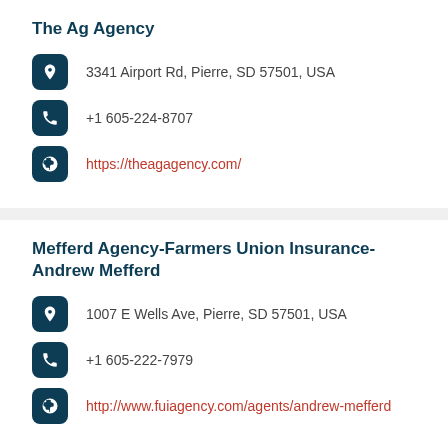The Ag Agency
3341 Airport Rd, Pierre, SD 57501, USA
+1 605-224-8707
https://theagagency.com/
Mefferd Agency-Farmers Union Insurance-Andrew Mefferd
1007 E Wells Ave, Pierre, SD 57501, USA
+1 605-222-7979
http://www.fuiagency.com/agents/andrew-mefferd